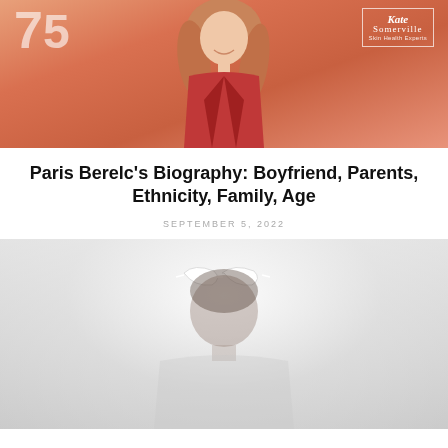[Figure (photo): Photo of a smiling woman with long blonde hair wearing a red blazer, standing in front of a coral/orange background with a Kate Somerville branding sign and the number 75 visible]
Paris Berelc's Biography: Boyfriend, Parents, Ethnicity, Family, Age
SEPTEMBER 5, 2022
[Figure (photo): Faded/washed-out photo of a person wearing white cat-eye sunglasses on their head, shown in muted gray tones]